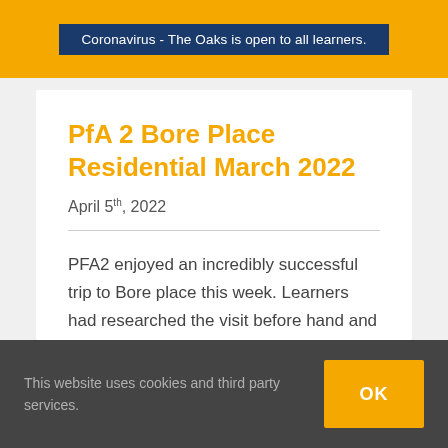Coronavirus - The Oaks is open to all learners.
PfA 2 Bore Place Residential March 2022
April 5th, 2022
PFA2 enjoyed an incredibly successful trip to Bore place this week. Learners had researched the visit before hand and got to
This website uses cookies and third party services.